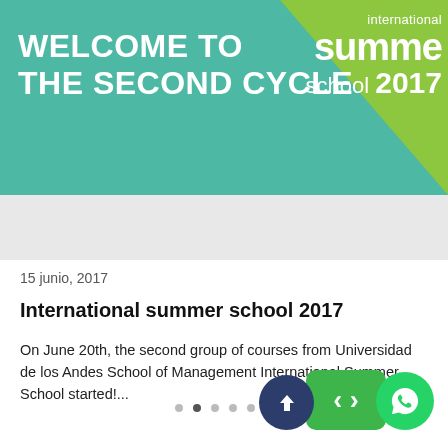[Figure (illustration): Banner for International Summer School 2017 with teal background showing 'WELCOME TO THE SECOND CYCLE' text in white bold, and a green angled section on the right with 'international summer school 2017']
15 junio, 2017
International summer school 2017
On June 20th, the second group of courses from Universidad de los Andes School of Management International Summer School started!...